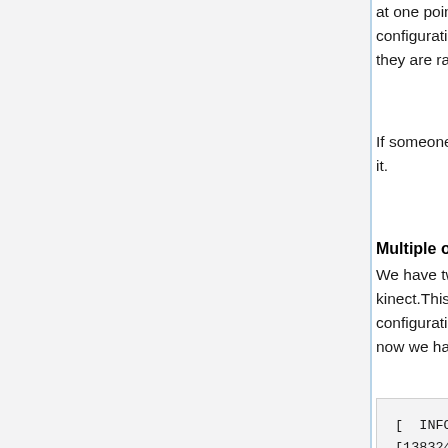at one point in time. Linux does not handle multiple configuration USB devices very well, but, thankfully, they are rare.
If someone find a better answer I will be happy to know it.
Multiple openni cameras
We have two different cameras Xtion PRo and kinect.This problem is related with the previous configuration, tt makes possible to work with Xtion but now we have problems with kinect.
[ INFO]
[1383246210.089689756]: Number devices connected: 1
[ INFO]
[1383246210.089891318]: 1. device on bus 001:17 is a